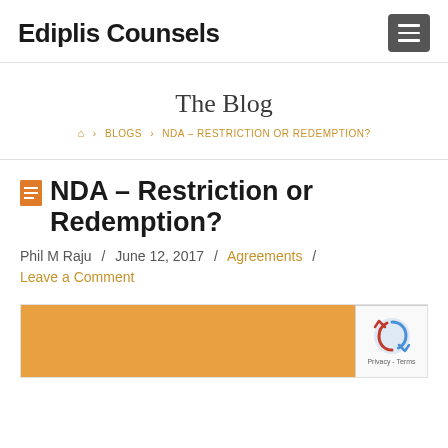Ediplis Counsels
The Blog
🏠 > BLOGS > NDA – RESTRICTION OR REDEMPTION?
NDA – Restriction or Redemption?
Phil M Raju / June 12, 2017 / Agreements / Leave a Comment
[Figure (other): Orange/amber colored blog image placeholder with reCAPTCHA Privacy-Terms overlay in bottom right corner]